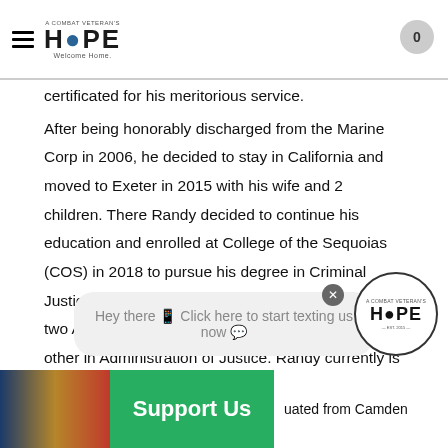A Combat Veteran's HOPE Welcome Home. [navigation header with logo and cart badge showing 0]
certificated for his meritorious service.

After being honorably discharged from the Marine Corp in 2006, he decided to stay in California and moved to Exeter in 2015 with his wife and 2 children. There Randy decided to continue his education and enrolled at College of the Sequoias (COS) in 2018 to pursue his degree in Criminal Justice.  He graduated from COS where he earned two Associate's Degrees, one in Sociology and the other in Administration of Justice. Randy currently is continuing his education at Fresno Pacific University where he expects to gain a Bachelor's Degree in Social Work by December 2021.  Randy looks forward to what the future brings and hopes to use this degree and his experiences to continue serving veterans in the community.
[Figure (screenshot): Chat bubble overlay: Hey there [emoji] Click here to start texting us now [emoji]]
[Figure (logo): A Combat Veteran's HOPE circular logo bottom right]
[Figure (photo): Bottom bar with American flag photo on left, green Support Us button in center, and text 'uated from Camden' on right]